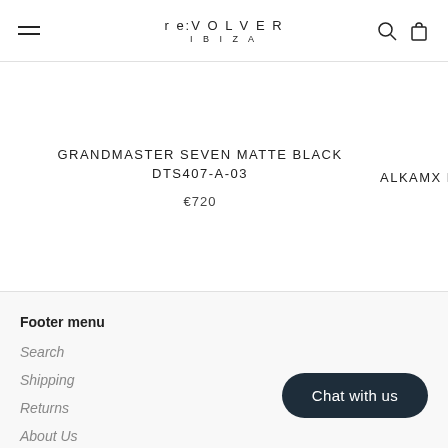re:VOLVER IBIZA
GRANDMASTER SEVEN MATTE BLACK DTS407-A-03
€720
ALKAMX D
Footer menu
Search
Shipping
Returns
About Us
Chat with us